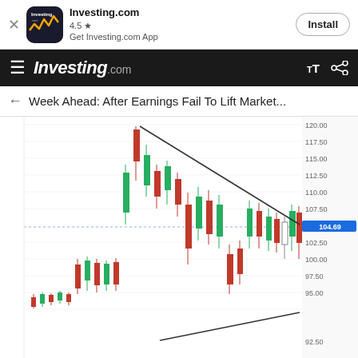[Figure (screenshot): App install banner for Investing.com with app icon, rating 4.5 stars, tagline 'Get Investing.com App', and Install button]
[Figure (screenshot): Investing.com navigation bar with hamburger menu, logo, font size icons and share icon]
Week Ahead: After Earnings Fail To Lift Market...
[Figure (continuous-plot): Candlestick chart showing price action with descending wedge pattern. Price levels visible on right axis: 92.50, 95.00, 97.50, 100.00, 102.50, 104.69 (current price highlighted in blue), 107.50, 110.00, 112.50, 115.00, 117.50, 120.00. A descending trendline from top-right and an ascending trendline from bottom-left form a wedge. Horizontal dotted line at approximately 104.69. Mix of green and red candlesticks.]